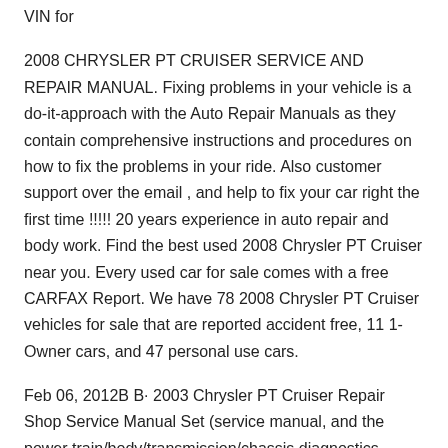VIN for
2008 CHRYSLER PT CRUISER SERVICE AND REPAIR MANUAL. Fixing problems in your vehicle is a do-it-approach with the Auto Repair Manuals as they contain comprehensive instructions and procedures on how to fix the problems in your ride. Also customer support over the email , and help to fix your car right the first time !!!!! 20 years experience in auto repair and body work. Find the best used 2008 Chrysler PT Cruiser near you. Every used car for sale comes with a free CARFAX Report. We have 78 2008 Chrysler PT Cruiser vehicles for sale that are reported accident free, 11 1-Owner cars, and 47 personal use cars.
Feb 06, 2012B B· 2003 Chrysler PT Cruiser Repair Shop Service Manual Set (service manual, and the power train/body/transmission/chassis diagnostics procedures